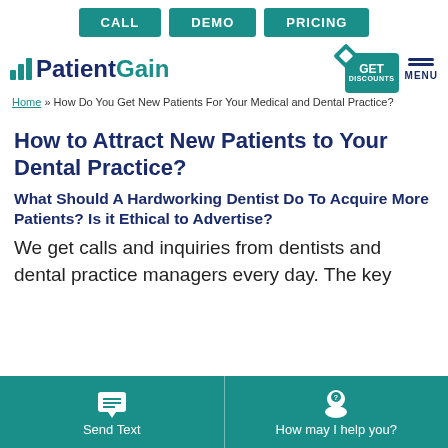CALL | DEMO | PRICING
[Figure (logo): PatientGain logo with teal bar chart icon, teal GET DISCOUNTS badge, and MENU hamburger icon]
Home » How Do You Get New Patients For Your Medical and Dental Practice?
How to Attract New Patients to Your Dental Practice?
What Should A Hardworking Dentist Do To Acquire More Patients? Is it Ethical to Advertise?
We get calls and inquiries from dentists and dental practice managers every day. The key
Send Text | How may I help you?